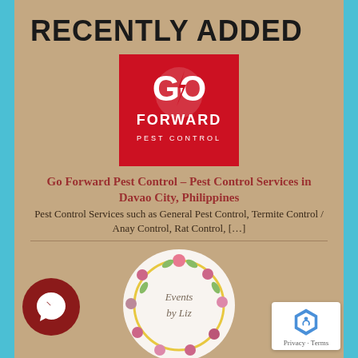RECENTLY ADDED
[Figure (logo): Go Forward Pest Control logo — red background with white GO FORWARD PEST CONTROL text and lightning bolt icon]
Go Forward Pest Control – Pest Control Services in Davao City, Philippines
Pest Control Services such as General Pest Control, Termite Control / Anay Control, Rat Control, […]
[Figure (logo): Events by Liz logo — circular floral wreath with script text in center]
nts by Liz – Event Expert in Davao City, Philippines
nts by Liz has been operating for two years but they already ha… almost 300 […]